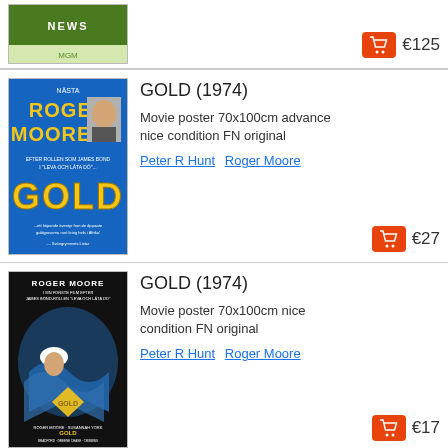[Figure (photo): Partial view of a movie poster (green/MGM) at top of page, cropped]
€125
GOLD (1974)
[Figure (photo): Swedish movie poster for GOLD (1974) with blue background, Roger Moore text in gold, showing Roger Moore portrait]
Movie poster 70x100cm advance nice condition FN original
Peter R Hunt  Roger Moore
€27
GOLD (1974)
[Figure (photo): Movie poster for GOLD (1974) with black background, Roger Moore, action scene with water and gold]
Movie poster 70x100cm nice condition FN original
Peter R Hunt  Roger Moore
€17